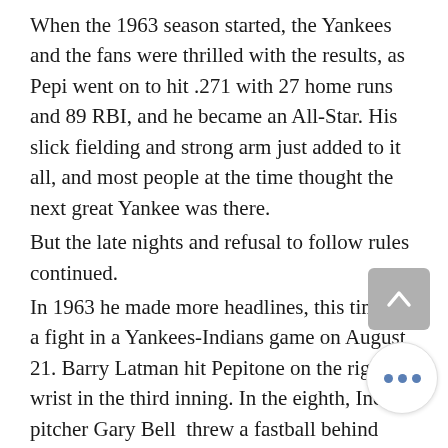When the 1963 season started, the Yankees and the fans were thrilled with the results, as Pepi went on to hit .271 with 27 home runs and 89 RBI, and he became an All-Star. His slick fielding and strong arm just added to it all, and most people at the time thought the next great Yankee was there.
But the late nights and refusal to follow rules continued.
In 1963 he made more headlines, this time for a fight in a Yankees-Indians game on August 21. Barry Latman hit Pepitone on the right wrist in the third inning. In the eighth, Indians pitcher Gary Bell  threw a fastball behind Pepitone and his next pitch hit Pepitone's ribs.
Pepitone charged the mound, but the